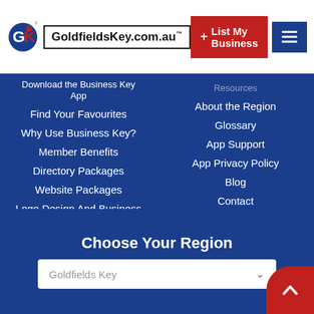GoldfieldsKey.com.au
Download the Business Key App
Find Your Favourites
Why Use Business Key?
Member Benefits
Directory Packages
Website Packages
Logo Design And Business Cards
Print Products
About the Region
Glossary
App Support
App Privacy Policy
Blog
Contact
Choose Your Region
Goldfields Key